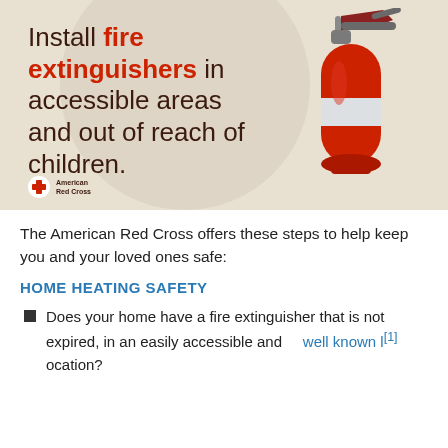[Figure (infographic): American Red Cross infographic with beige/tan background showing a red fire extinguisher illustration on the right and text on the left reading 'Install fire extinguishers in accessible areas and out of reach of children.' with the American Red Cross logo at bottom left.]
The American Red Cross offers these steps to help keep you and your loved ones safe:
HOME HEATING SAFETY
Does your home have a fire extinguisher that is not expired, in an easily accessible and well known l[1] ocation?